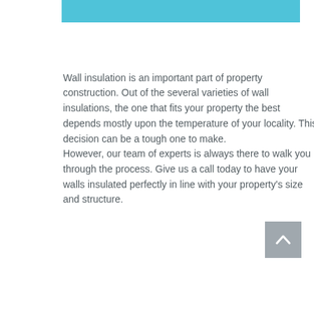[Figure (other): Decorative blue horizontal bar at top of page]
Wall insulation is an important part of property construction. Out of the several varieties of wall insulations, the one that fits your property the best depends mostly upon the temperature of your locality. This decision can be a tough one to make.
However, our team of experts is always there to walk you through the process. Give us a call today to have your walls insulated perfectly in line with your property's size and structure.